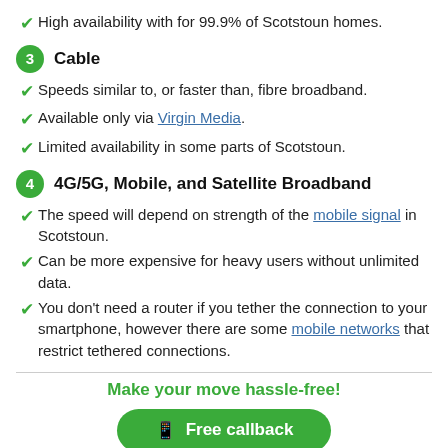High availability with for 99.9% of Scotstoun homes.
3 Cable
Speeds similar to, or faster than, fibre broadband.
Available only via Virgin Media.
Limited availability in some parts of Scotstoun.
4 4G/5G, Mobile, and Satellite Broadband
The speed will depend on strength of the mobile signal in Scotstoun.
Can be more expensive for heavy users without unlimited data.
You don't need a router if you tether the connection to your smartphone, however there are some mobile networks that restrict tethered connections.
Make your move hassle-free!
Free callback